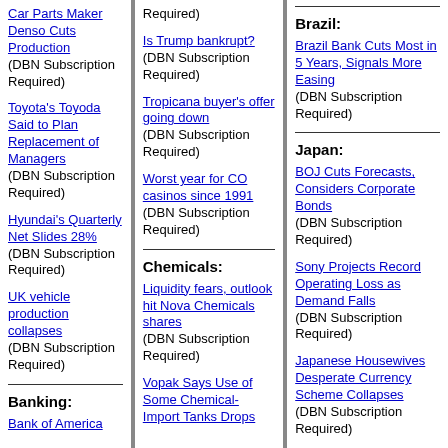Car Parts Maker Denso Cuts Production (DBN Subscription Required)
Toyota's Toyoda Said to Plan Replacement of Managers (DBN Subscription Required)
Hyundai's Quarterly Net Slides 28% (DBN Subscription Required)
UK vehicle production collapses (DBN Subscription Required)
Banking:
Bank of America
Is Trump bankrupt? (DBN Subscription Required)
Tropicana buyer's offer going down (DBN Subscription Required)
Worst year for CO casinos since 1991 (DBN Subscription Required)
Chemicals:
Liquidity fears, outlook hit Nova Chemicals shares (DBN Subscription Required)
Vopak Says Use of Some Chemical-Import Tanks Drops
Brazil:
Brazil Bank Cuts Most in 5 Years, Signals More Easing (DBN Subscription Required)
Japan:
BOJ Cuts Forecasts, Considers Corporate Bonds (DBN Subscription Required)
Sony Projects Record Operating Loss as Demand Falls (DBN Subscription Required)
Japanese Housewives Desperate Currency Scheme Collapses (DBN Subscription Required)
Japan's Exports Plummet Record, Signaling More Job Cuts (DBN Subscription Required)